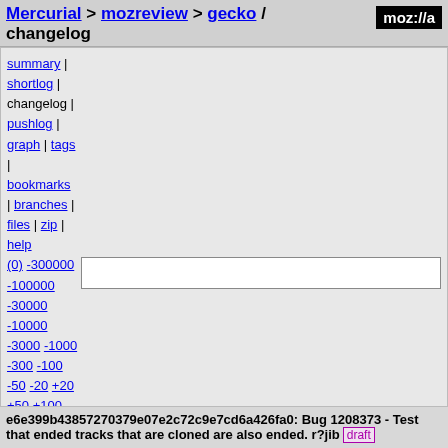Mercurial > mozreview > gecko / changelog
summary | shortlog | changelog | pushlog | graph | tags | bookmarks | branches | files | zip | help
(0) -300000 -100000 -30000 -10000 -3000 -1000 -300 -100 -50 -20 +20 +50 +100 +300 +1000 +3000 +10000 +30000 +100000 +300000 tip
e6e399b43857270379e07e2c72c9e7cd6a426fa0: Bug 1208373 - Test that ended tracks that are cloned are also ended. r?jib  draft